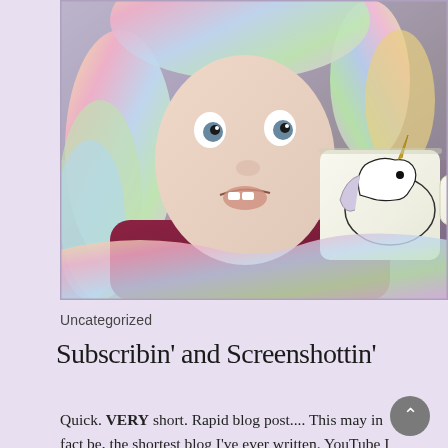[Figure (photo): Person wearing a colorful rainbow unicorn hoodie costume, making a funny face, holding a white mug with a unicorn illustration on it. Photo taken as a selfie-style shot.]
Uncategorized
Subscribin' and Screenshottin'
Quick. VERY short. Rapid blog post.... This may in fact be, the shortest blog I've ever written. YouTube I have had 3 people in